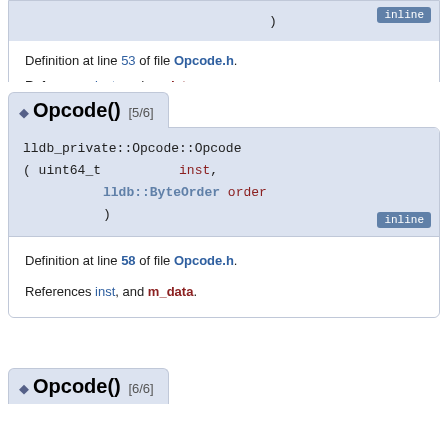)  [inline]
Definition at line 53 of file Opcode.h.
References inst, and m_data.
Opcode() [5/6]
lldb_private::Opcode::Opcode ( uint64_t inst, lldb::ByteOrder order )  [inline]
Definition at line 58 of file Opcode.h.
References inst, and m_data.
Opcode() [6/6]